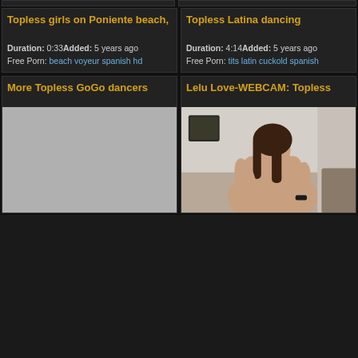[Figure (screenshot): Video thumbnail placeholder (gray) for Topless girls on Poniente beach]
Topless girls on Poniente beach,
Duration: 0:33Added: 5 years ago
Free Porn: beach voyeur spanish hd
[Figure (screenshot): Video thumbnail placeholder (gray) for Topless Latina dancing]
Topless Latina dancing
Duration: 4:14Added: 5 years ago
Free Porn: tits latin cuckold spanish
[Figure (screenshot): Video thumbnail placeholder (gray) for More Topless GoGo dancers]
More Topless GoGo dancers
[Figure (photo): Video thumbnail showing a person for Lelu Love-WEBCAM: Topless]
Lelu Love-WEBCAM: Topless